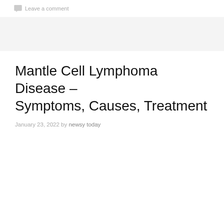Leave a comment
Mantle Cell Lymphoma Disease – Symptoms, Causes, Treatment
January 23, 2022 by newsy today